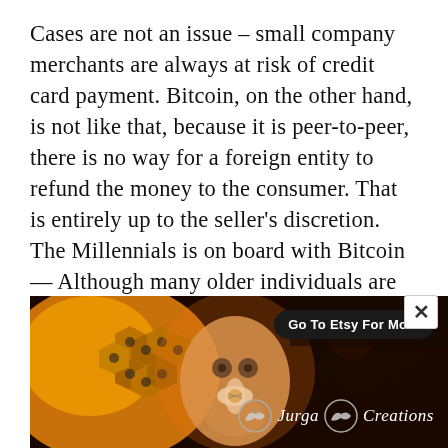Cases are not an issue – small company merchants are always at risk of credit card payment. Bitcoin, on the other hand, is not like that, because it is peer-to-peer, there is no way for a foreign entity to refund the money to the consumer. That is entirely up to the seller's discretion. The Millennials is on board with Bitcoin — Although many older individuals are wary of new technology, particularly currencies, young people are more open to the idea. A company that targets young consumers may
[Figure (illustration): An advertisement banner for Etsy featuring a colorful painting of a face with bees and honeycomb patterns in warm orange and yellow tones, with a 'Go To Etsy For More' button and 'Jurga Creations' logo with a bird symbol.]